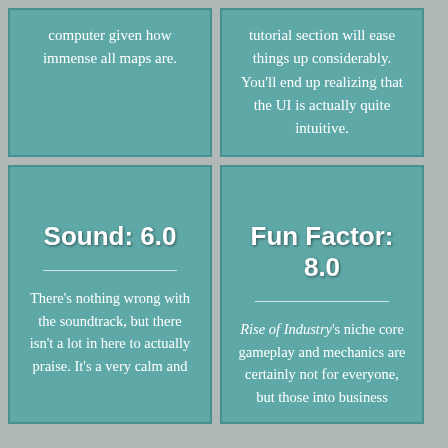computer given how immense all maps are.
tutorial section will ease things up considerably. You'll end up realizing that the UI is actually quite intuitive.
Sound: 6.0
There's nothing wrong with the soundtrack, but there isn't a lot in here to actually praise. It's a very calm and
Fun Factor: 8.0
Rise of Industry's niche core gameplay and mechanics are certainly not for everyone, but those into business